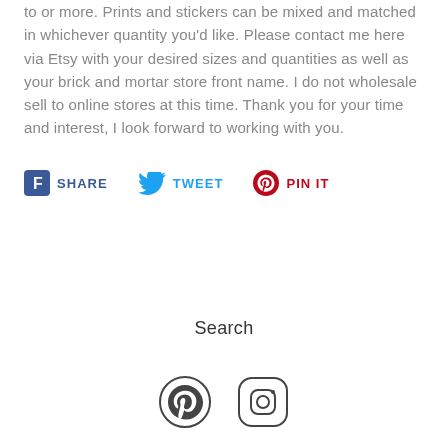to or more. Prints and stickers can be mixed and matched in whichever quantity you'd like. Please contact me here via Etsy with your desired sizes and quantities as well as your brick and mortar store front name. I do not wholesale sell to online stores at this time. Thank you for your time and interest, I look forward to working with you.
[Figure (infographic): Social share buttons: Facebook SHARE, Twitter TWEET, Pinterest PIN IT]
Search
[Figure (infographic): Pinterest and Instagram social media icons]